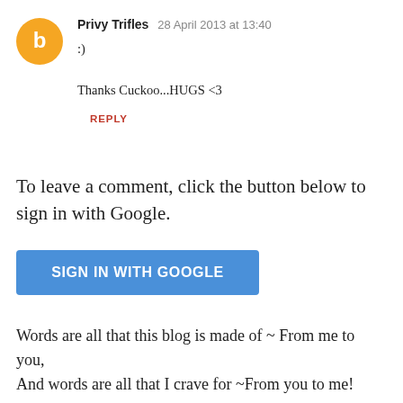Privy Trifles 28 April 2013 at 13:40
:)
Thanks Cuckoo...HUGS <3
REPLY
To leave a comment, click the button below to sign in with Google.
[Figure (other): Blue 'SIGN IN WITH GOOGLE' button]
Words are all that this blog is made of ~ From me to you,
And words are all that I crave for ~From you to me!